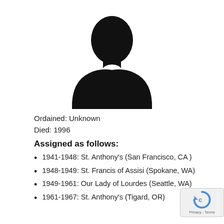[Figure (illustration): Silhouette of a priest/clergy person in black, no photo available placeholder image]
Ordained: Unknown
Died: 1996
Assigned as follows:
1941-1948: St. Anthony's (San Francisco, CA )
1948-1949: St. Francis of Assisi (Spokane, WA)
1949-1961: Our Lady of Lourdes (Seattle, WA)
1961-1967: St. Anthony's (Tigard, OR)